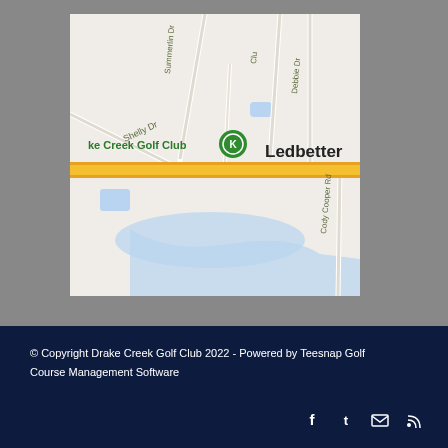[Figure (map): Google Maps screenshot showing Drake Creek Golf Club location near Ledbetter, with roads including Shelly Dr, Summerlin Dr, Debbie Dr, Cody Cooper Rd, and a yellow highway running through the area.]
© Copyright Drake Creek Golf Club 2022 - Powered by Teesnap Golf Course Management Software